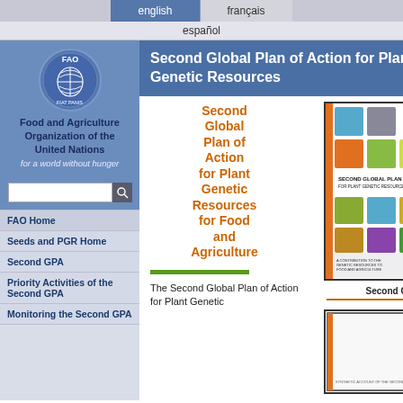english   français   español
[Figure (logo): FAO logo - circular emblem with wheat/globe design]
Food and Agriculture Organization of the United Nations
for a world without hunger
Second Global Plan of Action for Plant Genetic Resources
Second Global Plan of Action for Plant Genetic Resources for Food and Agriculture
[Figure (photo): Cover of the Second Global Plan of Action for Plant Genetic Resources for Food and Agriculture - shows colored grid of icons]
Second GPA
[Figure (photo): Synthetic Account of the Second Global Plan of Action book cover]
The Second Global Plan of Action for Plant Genetic
FAO Home
Seeds and PGR Home
Second GPA
Priority Activities of the Second GPA
Monitoring the Second GPA